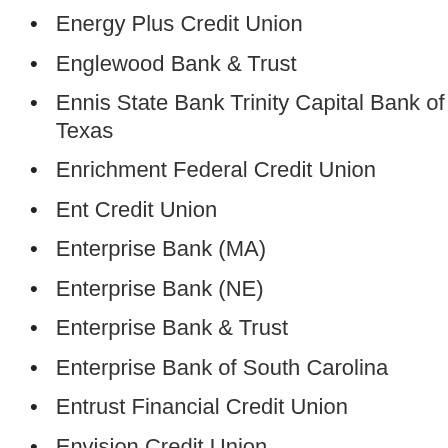Energy Plus Credit Union
Englewood Bank & Trust
Ennis State Bank Trinity Capital Bank of Texas
Enrichment Federal Credit Union
Ent Credit Union
Enterprise Bank (MA)
Enterprise Bank (NE)
Enterprise Bank & Trust
Enterprise Bank of South Carolina
Entrust Financial Credit Union
Envision Credit Union
Envista Credit Union